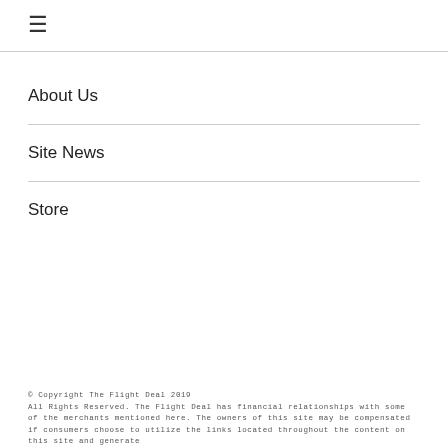☰
About Us
Site News
Store
© Copyright The Flight Deal 2019
All Rights Reserved. The Flight Deal has financial relationships with some of the merchants mentioned here. The owners of this site may be compensated if consumers choose to utilize the links located throughout the content on this site and generate